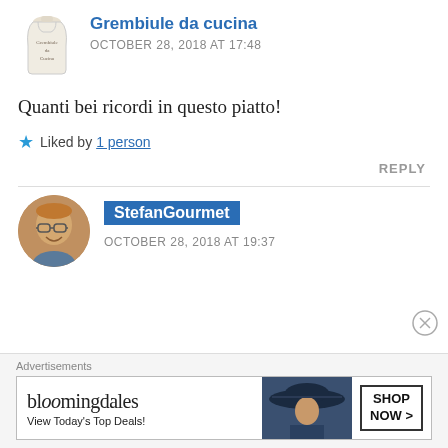[Figure (illustration): Apron-shaped avatar with text 'Grembiule da cucina' for commenter Grembiule da cucina]
Grembiule da cucina
OCTOBER 28, 2018 AT 17:48
Quanti bei ricordi in questo piatto!
Liked by 1 person
REPLY
[Figure (photo): Circular avatar photo of a man with glasses, smiling, middle-aged]
StefanGourmet
OCTOBER 28, 2018 AT 19:37
Advertisements
[Figure (screenshot): Bloomingdale's advertisement banner: 'bloomingdales View Today's Top Deals!' with SHOP NOW button and woman in hat image]